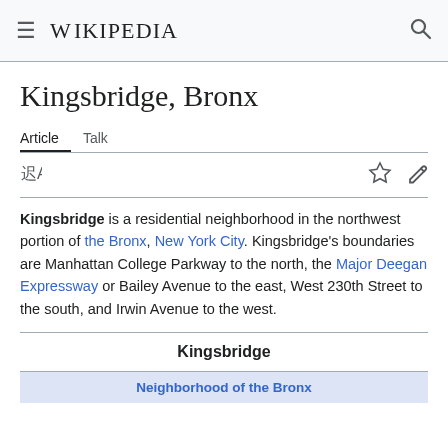Wikipedia
Kingsbridge, Bronx
Article  Talk
Kingsbridge is a residential neighborhood in the northwest portion of the Bronx, New York City. Kingsbridge's boundaries are Manhattan College Parkway to the north, the Major Deegan Expressway or Bailey Avenue to the east, West 230th Street to the south, and Irwin Avenue to the west.
| Kingsbridge |
| --- |
| Neighborhood of the Bronx |